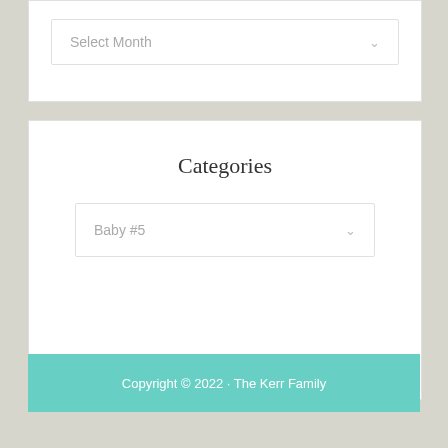[Figure (screenshot): A dropdown widget showing 'Select Month' with a chevron/arrow icon on the right, styled with a light border on white background.]
Categories
[Figure (screenshot): A dropdown widget showing 'Baby #5' with a chevron/arrow icon on the right, styled with a light border on white background.]
Copyright © 2022 · The Kerr Family